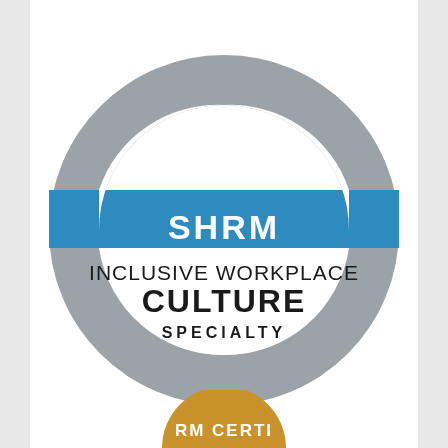[Figure (logo): SHRM Inclusive Workplace Culture Specialty badge/seal. A large circular arc shape in gray forms a ring (open at bottom-left and bottom-right) with a blue horizontal banner across the middle reading 'SHRM' in white bold text. Inside the ring center: 'INCLUSIVE WORKPLACE CULTURE SPECIALTY' in bold black text. Below the main badge, partially visible, is a gold/yellow circular seal with text 'RM CERTI' visible.]